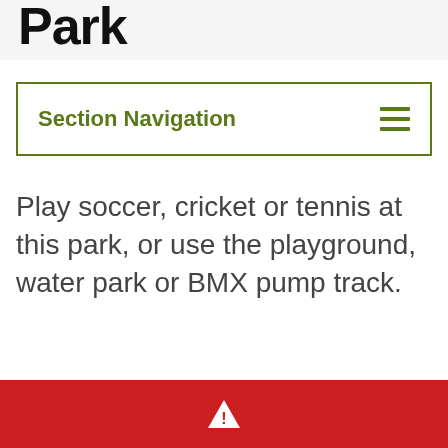Park
Section Navigation
Play soccer, cricket or tennis at this park, or use the playground, water park or BMX pump track.
[Figure (infographic): Red alert bar with a white warning triangle icon at the bottom of the page]